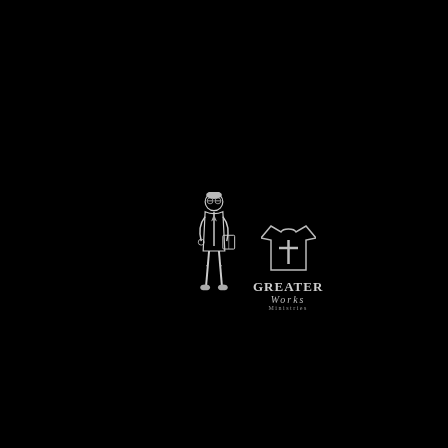[Figure (logo): Greater Works Ministries logo on black background. Left side: illustration of a preacher/minister figure in white suit holding a book. Right side: a cross-on-shirt icon with text 'GREATER WORKS MINISTRIES' below it.]